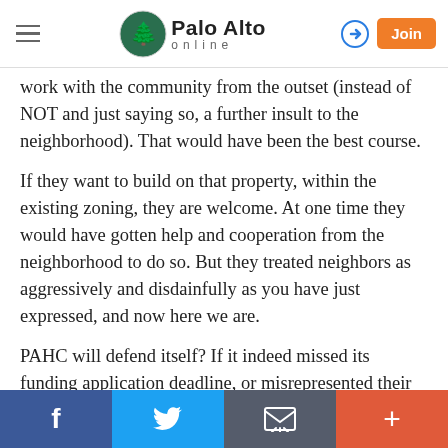Palo Alto online
work with the community from the outset (instead of NOT and just saying so, a further insult to the neighborhood). That would have been the best course.
If they want to build on that property, within the existing zoning, they are welcome. At one time they would have gotten help and cooperation from the neighborhood to do so. But they treated neighbors as aggressively and disdainfully as you have just expressed, and now here we are.
PAHC will defend itself? If it indeed missed its funding application deadline, or misrepresented their zoning to
Facebook  Twitter  Email  More